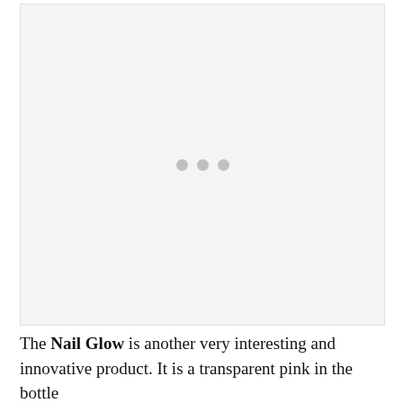[Figure (other): Image placeholder with loading dots indicator on light gray background]
The Nail Glow is another very interesting and innovative product. It is a transparent pink in the bottle